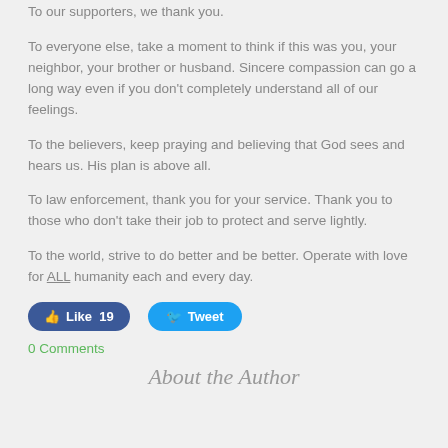To our supporters, we thank you.
To everyone else, take a moment to think if this was you, your neighbor, your brother or husband. Sincere compassion can go a long way even if you don't completely understand all of our feelings.
To the believers, keep praying and believing that God sees and hears us. His plan is above all.
To law enforcement, thank you for your service. Thank you to those who don't take their job to protect and serve lightly.
To the world, strive to do better and be better. Operate with love for ALL humanity each and every day.
[Figure (screenshot): Social media buttons: Facebook Like (19) and Twitter Tweet buttons]
0 Comments
About the Author